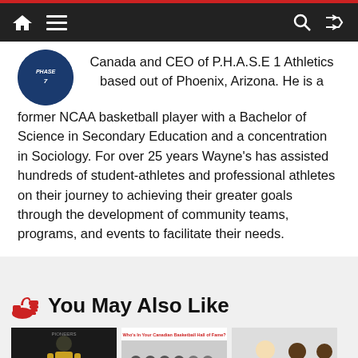Navigation bar with home, menu, search, and shuffle icons
Canada and CEO of P.H.A.S.E 1 Athletics based out of Phoenix, Arizona. He is a former NCAA basketball player with a Bachelor of Science in Secondary Education and a concentration in Sociology. For over 25 years Wayne's has assisted hundreds of student-athletes and professional athletes on their journey to achieving their greater goals through the development of community teams, programs, and events to facilitate their needs.
You May Also Like
[Figure (photo): Three thumbnail photos for recommended articles: a basketball player in yellow uniform, a group photo with Canadian Basketball Hall of Fame banner, and two men posing together.]